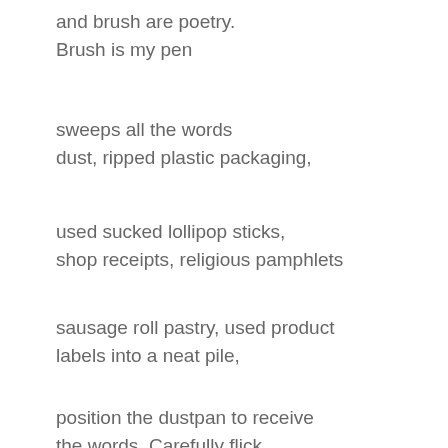and brush are poetry.
Brush is my pen
sweeps all the words
dust, ripped plastic packaging,
used sucked lollipop sticks,
shop receipts, religious pamphlets
sausage roll pastry, used product
labels into a neat pile,
position the dustpan to receive
the words. Carefully flick